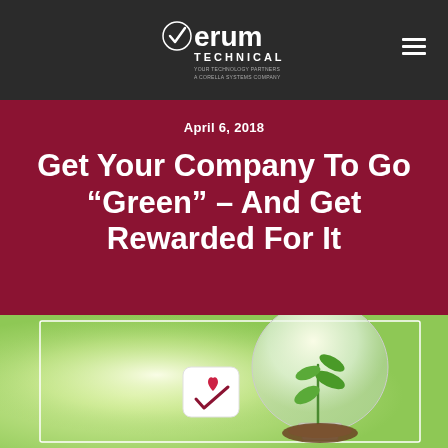[Figure (logo): Verum Technical logo with checkmark, white text on dark background, with tagline 'YOUR TECHNOLOGY PARTNERS A CORELLA SYSTEMS COMPANY']
April 6, 2018
Get Your Company To Go “Green” – And Get Rewarded For It
[Figure (photo): Green nature background showing a glowing light bulb with a plant growing inside it, and a small logo icon with a heart and checkmark in the center. Bright bokeh green background.]